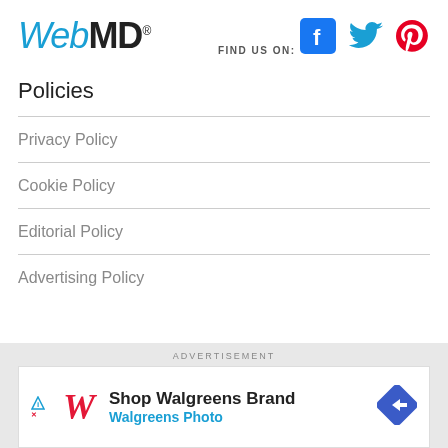WebMD
FIND US ON:
[Figure (logo): Social media icons: Facebook (blue), Twitter (blue bird), Pinterest (red P)]
Policies
Privacy Policy
Cookie Policy
Editorial Policy
Advertising Policy
ADVERTISEMENT
[Figure (infographic): Walgreens advertisement banner: Shop Walgreens Brand / Walgreens Photo with Walgreens W logo and blue diamond arrow icon]